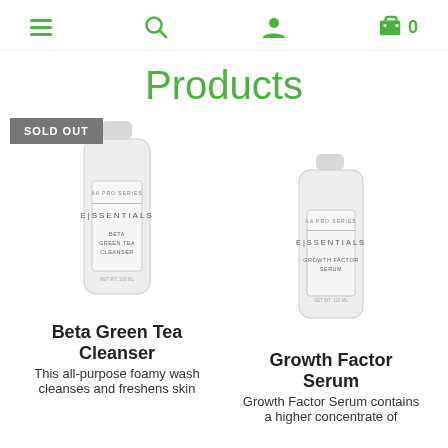Navigation bar with hamburger menu, search icon, user icon, cart icon with count 0
Products
[Figure (photo): Essentials Beta Green Tea Cleanser bottle with SOLD OUT badge]
[Figure (photo): Essentials Growth Factor Serum bottle]
Beta Green Tea Cleanser
This all-purpose foamy wash cleanses and freshens skin
Growth Factor Serum
Growth Factor Serum contains a higher concentrate of